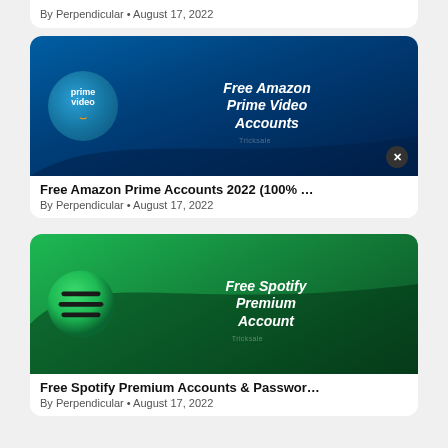[Figure (screenshot): Partial card at top with dark green background, showing metadata: By Perpendicular • August 17, 2022]
By Perpendicular • August 17, 2022
[Figure (screenshot): Article card with Amazon Prime Video banner image showing prime video logo and text 'Free Amazon Prime Video Accounts']
Free Amazon Prime Accounts 2022 (100% …
By Perpendicular • August 17, 2022
[Figure (screenshot): Article card with Spotify Premium banner image showing Spotify logo and text 'Free Spotify Premium Account']
Free Spotify Premium Accounts & Passwor…
By Perpendicular • August 17, 2022